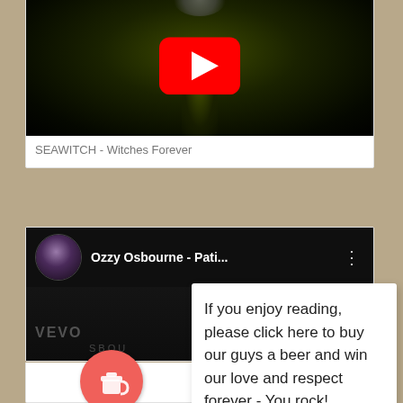[Figure (screenshot): YouTube video thumbnail showing dark green/black background with a YouTube play button (red rectangle with white triangle). Partial view cropped at top.]
SEAWITCH - Witches Forever
[Figure (screenshot): YouTube video embed showing Ozzy Osbourne channel with dark background, avatar thumbnail, channel name 'Ozzy Osbourne - Pati...' with three-dot menu. VEVO branding visible at bottom left.]
If you enjoy reading, please click here to buy our guys a beer and win our love and respect forever - You rock!
[Figure (illustration): Buy Me a Coffee button - circular pink/salmon button with a coffee cup icon.]